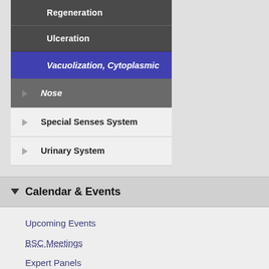Regeneration
Ulceration
Vacuolization, Cytoplasmic
Nose
Special Senses System
Urinary System
Calendar & Events
Upcoming Events
BSC Meetings
Expert Panels
NICEATM Meetings
SACATM Meetings
Webinars & Workshops